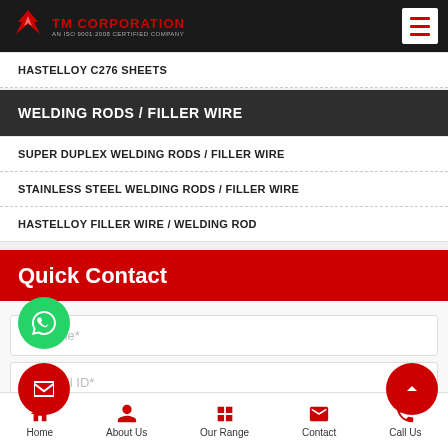TM CORPORATION — AN ISO 9001:2008 CERTIFIED COMPANY
HASTELLOY C276 SHEETS
WELDING RODS / FILLER WIRE
SUPER DUPLEX WELDING RODS / FILLER WIRE
STAINLESS STEEL WELDING RODS / FILLER WIRE
HASTELLOY FILLER WIRE / WELDING ROD
Quick Contact
Your Name*
Your Email ID*
Home | About Us | Our Range | Contact | Call Us